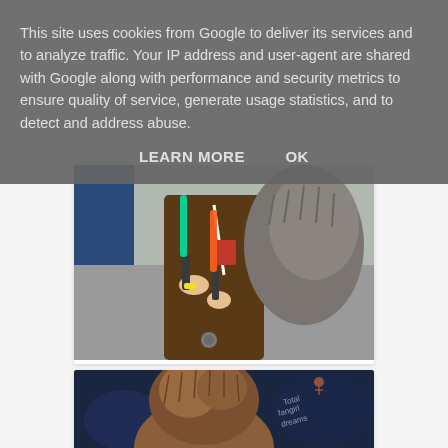This site uses cookies from Google to deliver its services and to analyze traffic. Your IP address and user-agent are shared with Google along with performance and security metrics to ensure quality of service, generate usage statistics, and to detect and address abuse.
LEARN MORE    OK
[Figure (photo): Photo of a child in a Jedi costume holding colorful lightsabers, wearing a brown robe and a furry hood/backpack]
[Figure (photo): Photo of a Chewbacca character with brown fur, partially visible against a dark blue background with a watermark]